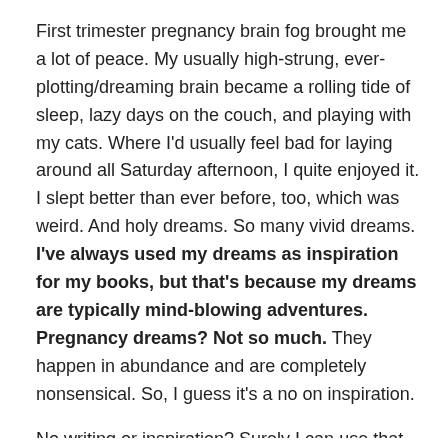First trimester pregnancy brain fog brought me a lot of peace. My usually high-strung, ever-plotting/dreaming brain became a rolling tide of sleep, lazy days on the couch, and playing with my cats. Where I'd usually feel bad for laying around all Saturday afternoon, I quite enjoyed it. I slept better than ever before, too, which was weird. And holy dreams. So many vivid dreams. I've always used my dreams as inspiration for my books, but that's because my dreams are typically mind-blowing adventures. Pregnancy dreams? Not so much. They happen in abundance and are completely nonsensical. So, I guess it's a no on inspiration.
No writing or inspiration? Surely I can use that energy for something else.
Oh, wait. The fatigue.